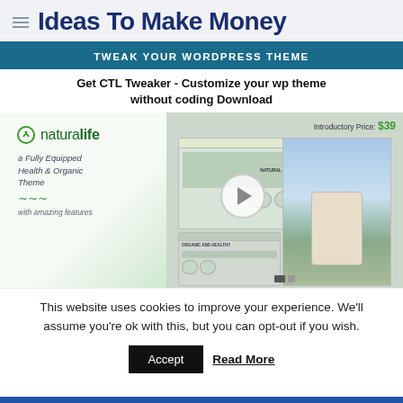Ideas To Make Money
TWEAK YOUR WORDPRESS THEME
Get CTL Tweaker - Customize your wp theme without coding Download
[Figure (screenshot): Screenshot of a WordPress theme customizer product called naturalife - a Fully Equipped Health & Organic Theme with amazing features. Shows introductory price of $39 with website screenshots and a play button overlay.]
This website uses cookies to improve your experience. We'll assume you're ok with this, but you can opt-out if you wish.
Accept   Read More